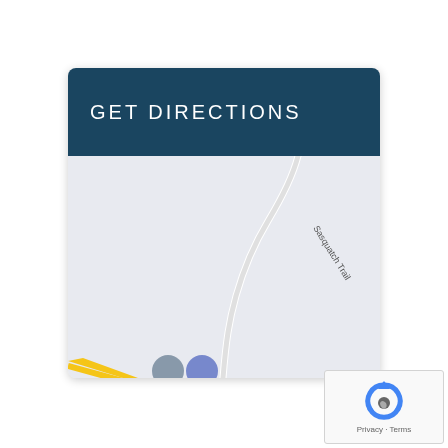GET DIRECTIONS
[Figure (map): Google Maps view showing Sasquatch Trail road with a winding white road path on a light gray background. Bottom left shows partial road markers in yellow, and two circular icons (gray and blue).]
[Figure (other): reCAPTCHA logo badge with Privacy and Terms text]